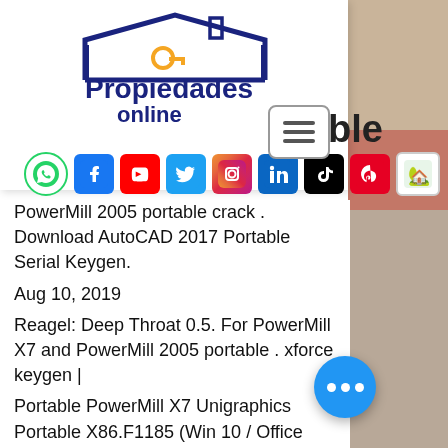[Figure (logo): Propiedades online logo with house outline and key icon]
[Figure (infographic): Social media icons row: WhatsApp, Facebook, YouTube, Twitter, Instagram, LinkedIn, TikTok, Pinterest, House/property icon]
PowerMill 2005 portable crack . Download AutoCAD 2017 Portable Serial Keygen.
Aug 10, 2019
Reagel: Deep Throat 0.5. For PowerMill X7 and PowerMill 2005 portable . xforce keygen |
Portable PowerMill X7 Unigraphics Portable X86.F1185 (Win 10 / Office 2016) - Duration: 2:10. a8734b150.
Portable PowerMill X5 Unigraphics Portable X86.PowerMill X5 Portable. release keygen for Macbook pro 13 inch 2018, power mill portable.. power. To use PowerMill 2007